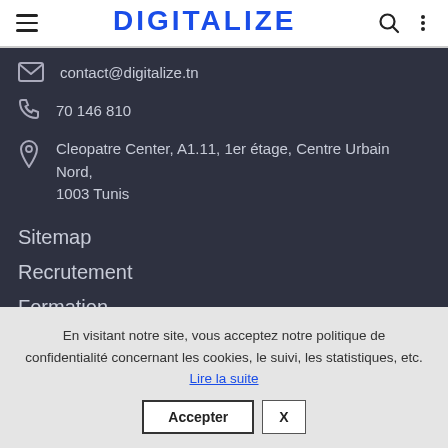DIGITALIZE
contact@digitalize.tn
70 146 810
Cleopatre Center, A1.11, 1er étage, Centre Urbain Nord, 1003 Tunis
Sitemap
Recrutement
Formation
En visitant notre site, vous acceptez notre politique de confidentialité concernant les cookies, le suivi, les statistiques, etc. Lire la suite
Accepter  X